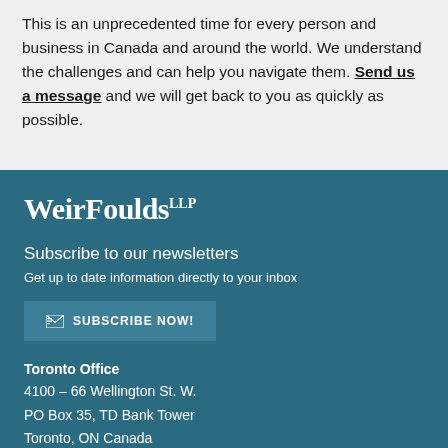This is an unprecedented time for every person and business in Canada and around the world. We understand the challenges and can help you navigate them. Send us a message and we will get back to you as quickly as possible.
[Figure (logo): WeirFoulds LLP law firm logo in white text on teal background]
Subscribe to our newsletters
Get up to date information directly to your inbox
SUBSCRIBE NOW!
Toronto Office
4100 – 66 Wellington St. W.
PO Box 35, TD Bank Tower
Toronto, ON Canada
M5K 1B7